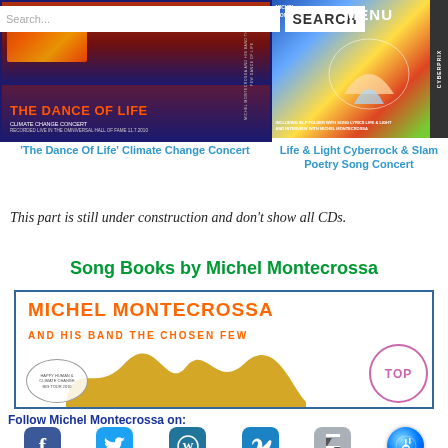[Figure (screenshot): Top left concert CD cover - The Dance Of Life Climate Change Concert]
[Figure (screenshot): Top right concert CD cover - Life & Light Cyberrock & Slam Poetry Song Concert]
Search...
SEARCH
MENU
'The Dance Of Life' Climate Change Concert
Life & Light Cyberrock & Slam Poetry Song Concert
This part is still under construction and don't show all CDs.
Song Books by Michel Montecrossa
[Figure (photo): Michel Montecrossa and His Band The Chosen Few song book cover with orange crown graphic]
Follow Michel Montecrossa on:
[Figure (screenshot): Social media icons row: Facebook, Twitter, WordPress, Vimeo, DeviantArt, iTunes]